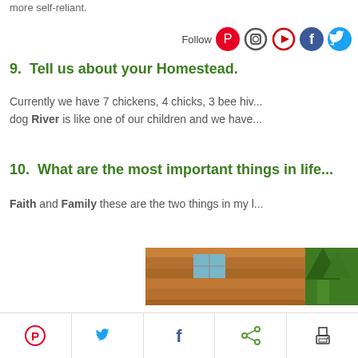more self-reliant.
Follow
9.  Tell us about your Homestead.
Currently we have 7 chickens, 4 chicks, 3 bee hiv... dog River is like one of our children and we have...
10.  What are the most important things in life...
Faith and Family these are the two things in my l...
[Figure (photo): Photo of a log cabin exterior with brown horizontal logs and green trees in the background]
[Figure (infographic): Bottom social sharing bar with Pinterest, Twitter, Facebook, share, and print icons]